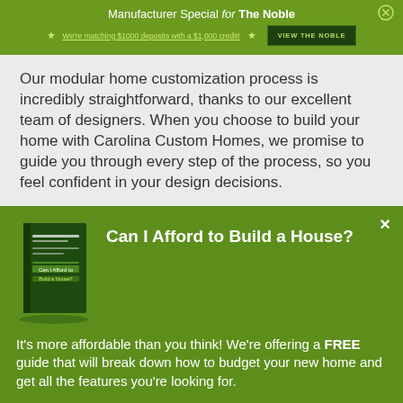Manufacturer Special for The Noble — We're matching $1000 deposits with a $1,000 credit! — VIEW THE NOBLE
Our modular home customization process is incredibly straightforward, thanks to our excellent team of designers. When you choose to build your home with Carolina Custom Homes, we promise to guide you through every step of the process, so you feel confident in your design decisions.
Can I Afford to Build a House?
[Figure (photo): Book cover for 'Can I Afford to Build a House?' guide with dark green cover]
It's more affordable than you think! We're offering a FREE guide that will break down how to budget your new home and get all the features you're looking for.
Download Your Free Copy